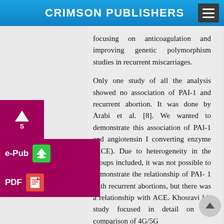CRIMSON PUBLISHERS
focusing on anticoagulation and improving genetic polymorphism studies in recurrent miscarriages.
Only one study of all the analysis showed no association of PAI-1 and recurrent abortion. It was done by Arabi et al. [8]. We wanted to demonstrate this association of PAI-1 and angiotensin I converting enzyme (ACE). Due to heterogeneity in the groups included, it was not possible to demonstrate the relationship of PAI- 1 with recurrent abortions, but there was a relationship with ACE. Khosravi [4] study focused in detail on the comparison of 4G/5G